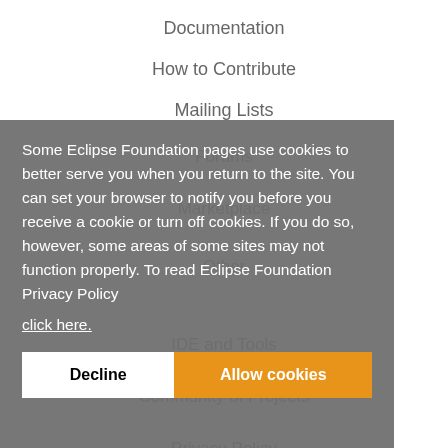Documentation
How to Contribute
Mailing Lists
Forums
Marketplace
Other
IDE and Tools
Community of Projects
Privacy Policy
Research@Eclipse
Report a Vulnerability
Service Status
Some Eclipse Foundation pages use cookies to better serve you when you return to the site. You can set your browser to notify you before you receive a cookie or turn off cookies. If you do so, however, some areas of some sites may not function properly. To read Eclipse Foundation Privacy Policy click here.